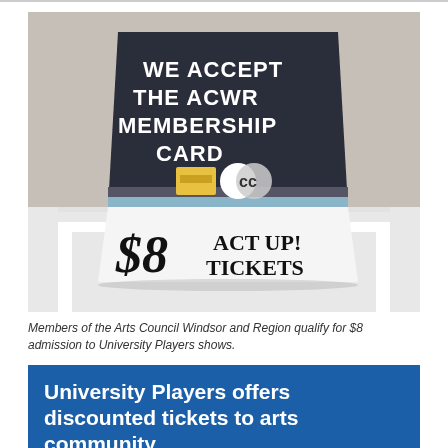[Figure (photo): A folded sign on a white table. The top half has a dark navy/black background with bold white text reading 'WE ACCEPT THE ACWR MEMBERSHIP CARD' with a membership card graphic. The bottom half is white with handwritten-style large text '$8 ACT UP! TICKETS'.]
Members of the Arts Council Windsor and Region qualify for $8 admission to University Players shows.
University Players offers discounted tickets to arts community